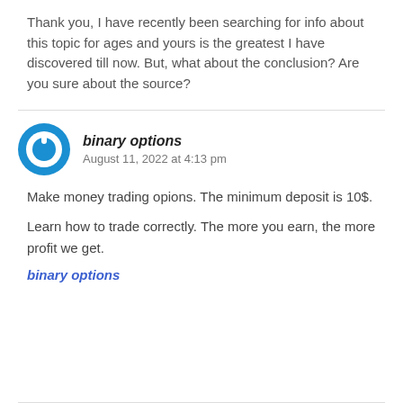Thank you, I have recently been searching for info about this topic for ages and yours is the greatest I have discovered till now. But, what about the conclusion? Are you sure about the source?
binary options
August 11, 2022 at 4:13 pm
Make money trading opions. The minimum deposit is 10$.
Learn how to trade correctly. The more you earn, the more profit we get.
binary options